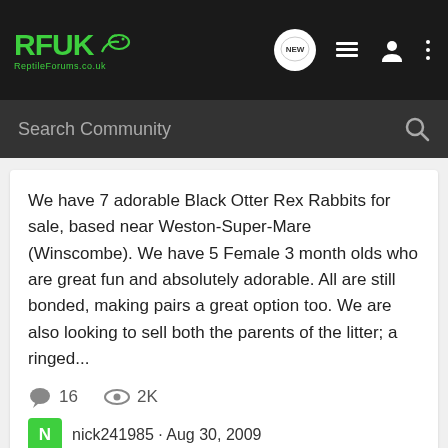RFUK ReptileForums.co.uk — navigation bar with NEW, list, user, and menu icons
Search Community
We have 7 adorable Black Otter Rex Rabbits for sale, based near Weston-Super-Mare (Winscombe). We have 5 Female 3 month olds who are great fun and absolutely adorable. All are still bonded, making pairs a great option too. We are also looking to sell both the parents of the litter; a ringed...
16  2K
nick241985 · Aug 30, 2009
otter rex
rabbits
rex
rex rabbits
1-8 of 8 Results